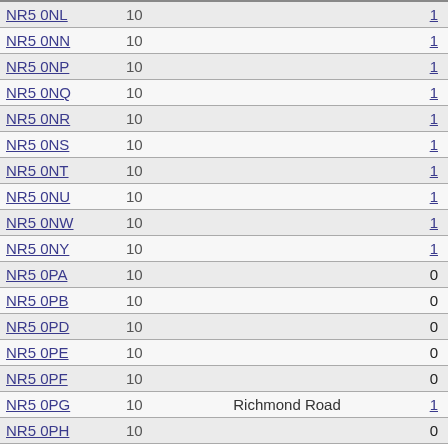| Postcode | Count | Street | Links |
| --- | --- | --- | --- |
| NR5 0NL | 10 |  | 1 |
| NR5 0NN | 10 |  | 1 |
| NR5 0NP | 10 |  | 1 |
| NR5 0NQ | 10 |  | 1 |
| NR5 0NR | 10 |  | 1 |
| NR5 0NS | 10 |  | 1 |
| NR5 0NT | 10 |  | 1 |
| NR5 0NU | 10 |  | 1 |
| NR5 0NW | 10 |  | 1 |
| NR5 0NY | 10 |  | 1 |
| NR5 0PA | 10 |  | 0 |
| NR5 0PB | 10 |  | 0 |
| NR5 0PD | 10 |  | 0 |
| NR5 0PE | 10 |  | 0 |
| NR5 0PF | 10 |  | 0 |
| NR5 0PG | 10 | Richmond Road | 1 |
| NR5 0PH | 10 |  | 0 |